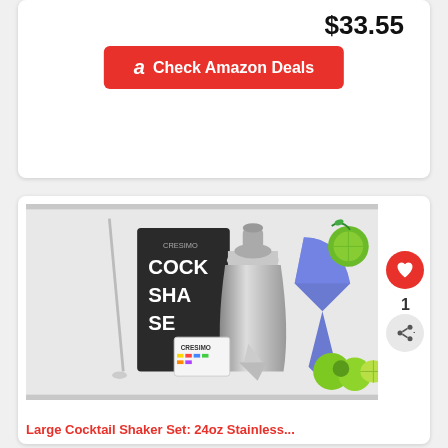$33.55
a Check Amazon Deals
[Figure (photo): Cresimo large cocktail shaker set with stainless steel shaker, bar spoon, jigger, recipe book, and a blue margarita cocktail garnished with lime, alongside fresh limes]
Large Cocktail Shaker Set: 24oz Stainless...